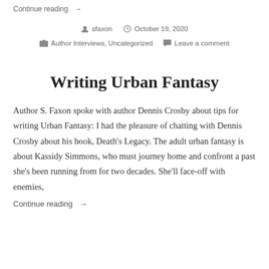Continue reading →
sfaxon   October 19, 2020   Author Interviews, Uncategorized   Leave a comment
Writing Urban Fantasy
Author S. Faxon spoke with author Dennis Crosby about tips for writing Urban Fantasy: I had the pleasure of chatting with Dennis Crosby about his book, Death's Legacy. The adult urban fantasy is about Kassidy Simmons, who must journey home and confront a past she's been running from for two decades. She'll face-off with enemies,
Continue reading →